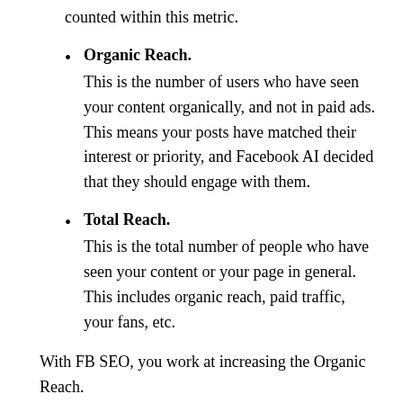counted within this metric.
Organic Reach. This is the number of users who have seen your content organically, and not in paid ads. This means your posts have matched their interest or priority, and Facebook AI decided that they should engage with them.
Total Reach. This is the total number of people who have seen your content or your page in general. This includes organic reach, paid traffic, your fans, etc.
With FB SEO, you work at increasing the Organic Reach.